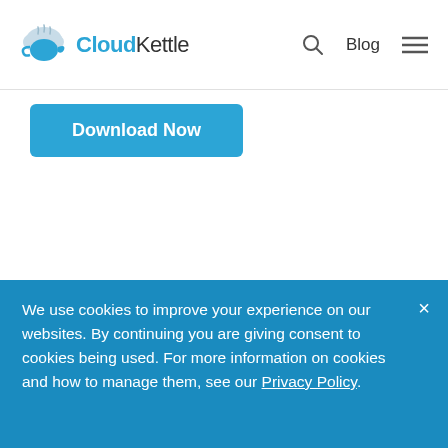CloudKettle — Blog
Download Now
[Figure (screenshot): Marketing Automation Readiness Checklist document preview showing checklist items including Dedicate Staff Time, Integrate with a CRM, Start a Blog, and Publish Long Form Content]
We use cookies to improve your experience on our websites. By continuing you are giving consent to cookies being used. For more information on cookies and how to manage them, see our Privacy Policy.